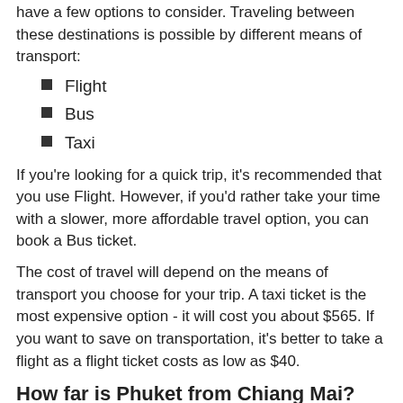have a few options to consider. Traveling between these destinations is possible by different means of transport:
Flight
Bus
Taxi
If you're looking for a quick trip, it's recommended that you use Flight. However, if you'd rather take your time with a slower, more affordable travel option, you can book a Bus ticket.
The cost of travel will depend on the means of transport you choose for your trip. A taxi ticket is the most expensive option - it will cost you about $565. If you want to save on transportation, it's better to take a flight as a flight ticket costs as low as $40.
How far is Phuket from Chiang Mai?
If you're traveling by land, it's important to know the distance from Phuket to Chiang Mai. Your trip will be a